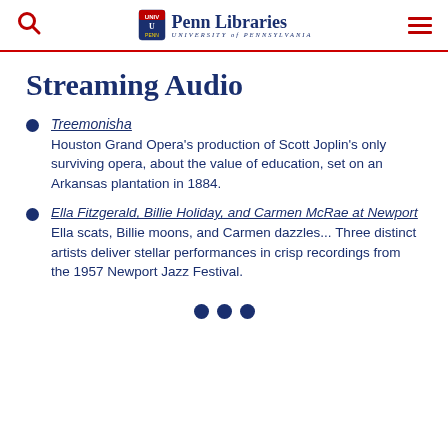Penn Libraries — University of Pennsylvania
Streaming Audio
Treemonisha
Houston Grand Opera's production of Scott Joplin's only surviving opera, about the value of education, set on an Arkansas plantation in 1884.
Ella Fitzgerald, Billie Holiday, and Carmen McRae at Newport
Ella scats, Billie moons, and Carmen dazzles... Three distinct artists deliver stellar performances in crisp recordings from the 1957 Newport Jazz Festival.